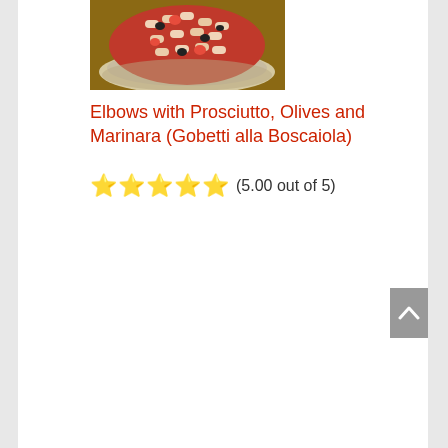[Figure (photo): A plate of elbow pasta with prosciutto, olives, and marinara sauce served on stacked brown plates]
Elbows with Prosciutto, Olives and Marinara (Gobetti alla Boscaiola)
★★★★★ (5.00 out of 5)